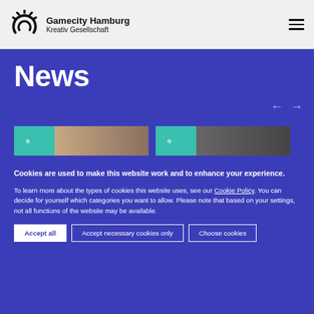Gamecity Hamburg Kreativ Gesellschaft
News
[Figure (screenshot): Two news article thumbnail images side by side on blue background with teal header strip]
Cookies are used to make this website work and to enhance your experience.
To learn more about the types of cookies this website uses, see our Cookie Policy. You can decide for yourself which categories you want to allow. Please note that based on your settings, not all functions of the website may be available.
Accept all | Accept necessary cookies only | Choose cookies